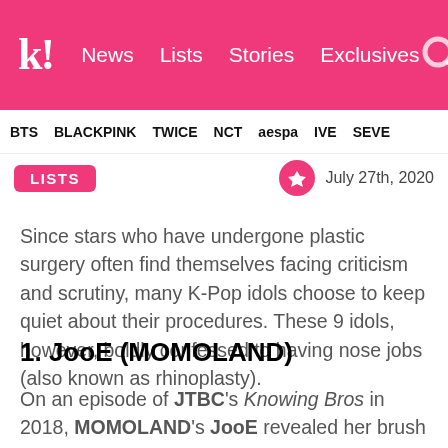K! News Lists Stories Exclusives
BTS BLACKPINK TWICE NCT aespa IVE SEVE
LISTS  July 27th, 2020
Since stars who have undergone plastic surgery often find themselves facing criticism and scrutiny, many K-Pop idols choose to keep quiet about their procedures. These 9 idols, however, boldly confessed to having nose jobs (also known as rhinoplasty).
1. JooE (MOMOLAND)
On an episode of JTBC's Knowing Bros in 2018, MOMOLAND's JooE revealed her brush with plastic surgery while talking about her ear